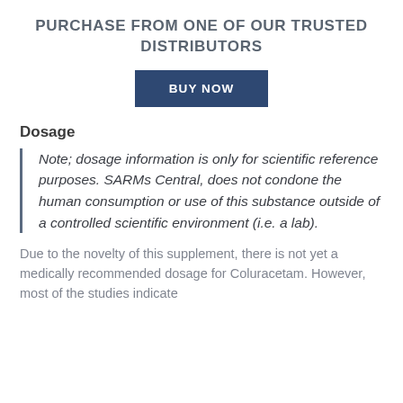PURCHASE FROM ONE OF OUR TRUSTED DISTRIBUTORS
BUY NOW
Dosage
Note; dosage information is only for scientific reference purposes. SARMs Central, does not condone the human consumption or use of this substance outside of a controlled scientific environment (i.e. a lab).
Due to the novelty of this supplement, there is not yet a medically recommended dosage for Coluracetam. However, most of the studies indicate